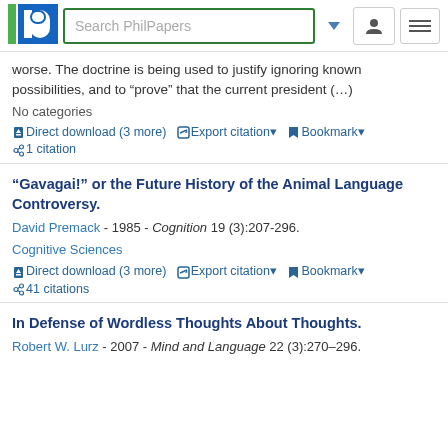Search PhilPapers
worse. The doctrine is being used to justify ignoring known possibilities, and to “prove” that the current president (...)
No categories
Direct download (3 more)  Export citation  Bookmark  1 citation
“Gavagai!” or the Future History of the Animal Language Controversy.
David Premack - 1985 - Cognition 19 (3):207-296.
Cognitive Sciences
Direct download (3 more)  Export citation  Bookmark  41 citations
In Defense of Wordless Thoughts About Thoughts.
Robert W. Lurz - 2007 - Mind and Language 22 (3):270-296.